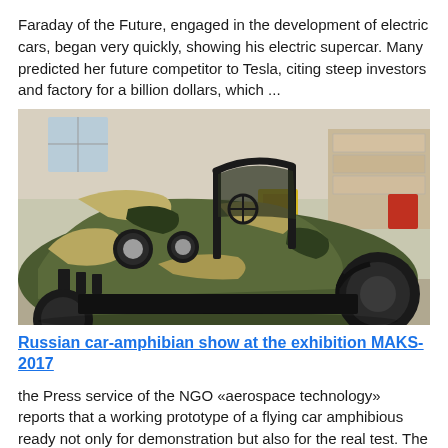Faraday of the Future, engaged in the development of electric cars, began very quickly, showing his electric supercar. Many predicted her future competitor to Tesla, citing steep investors and factory for a billion dollars, which ...
[Figure (photo): A military-style camouflage amphibious vehicle/buggy inside what appears to be a factory or exhibition hall. The vehicle has large off-road tires, round headlights, and a roll cage, painted in green and tan camouflage pattern.]
Russian car-amphibian show at the exhibition MAKS-2017
the Press service of the NGO «aerospace technology» reports that a working prototype of a flying car amphibious ready not only for demonstration but also for the real test. The machine was successfully tested and great m